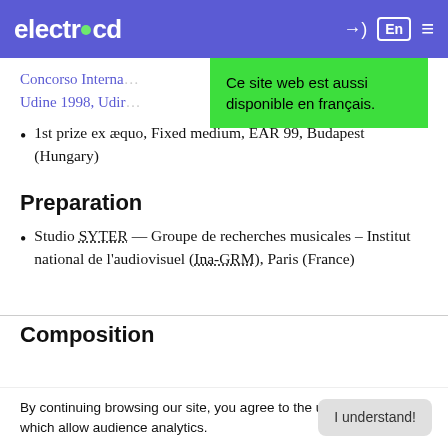electrocd
[Figure (screenshot): Green tooltip popup overlay: 'Ce site web est aussi disponible en français.']
Concorso Interna... Udine 1998, Udin...
1st prize ex æquo, Fixed medium, EAR 99, Budapest (Hungary)
Preparation
Studio SYTER — Groupe de recherches musicales – Institut national de l'audiovisuel (Ina-GRM), Paris (France)
Composition
By continuing browsing our site, you agree to the use of cookies, which allow audience analytics.